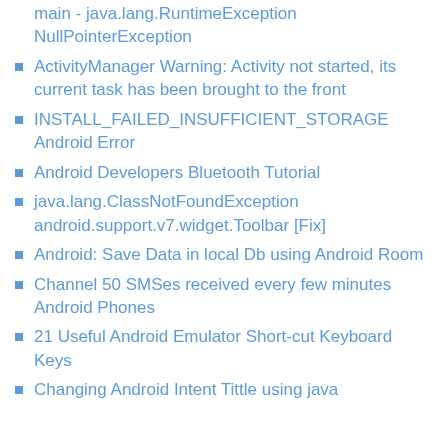main - java.lang.RuntimeException NullPointerException
ActivityManager Warning: Activity not started, its current task has been brought to the front
INSTALL_FAILED_INSUFFICIENT_STORAGE Android Error
Android Developers Bluetooth Tutorial
java.lang.ClassNotFoundException android.support.v7.widget.Toolbar [Fix]
Android: Save Data in local Db using Android Room
Channel 50 SMSes received every few minutes Android Phones
21 Useful Android Emulator Short-cut Keyboard Keys
Changing Android Intent Tittle using java